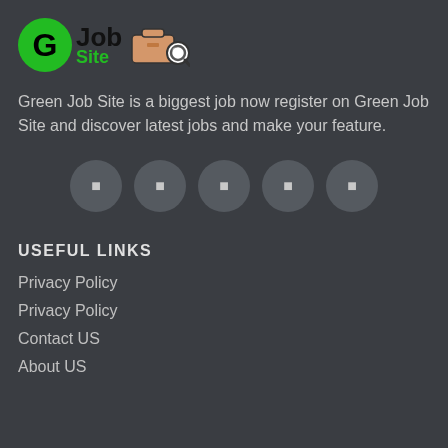[Figure (logo): Green Job Site logo with green circular G, bold 'Job' text, green 'Site' text, and briefcase with magnifying glass icon]
Green Job Site is a biggest job now register on Green Job Site and discover latest jobs and make your feature.
[Figure (infographic): Five circular social media icon buttons in dark grey circles arranged horizontally]
USEFUL LINKS
Privacy Policy
Privacy Policy
Contact US
About US